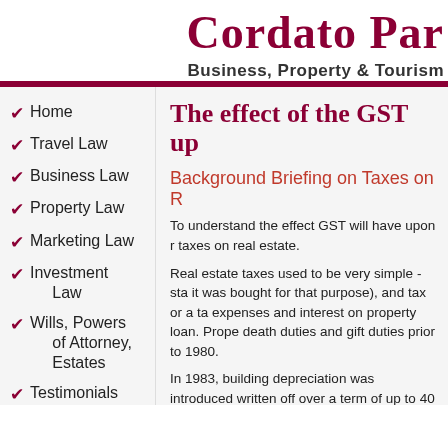Cordato Par
Business, Property & Tourism
Home
Travel Law
Business Law
Property Law
Marketing Law
Investment Law
Wills, Powers of Attorney, Estates
Testimonials
The effect of the GST up
Background Briefing on Taxes on R
To understand the effect GST will have upon r taxes on real estate.
Real estate taxes used to be very simple - sta it was bought for that purpose), and tax or a ta expenses and interest on property loan. Prope death duties and gift duties prior to 1980.
In 1983, building depreciation was introduced written off over a term of up to 40 years.
On 20 September, 1985, Capital Gains Tax (S acquired after that date or which had substant The tax applied to all property acquired with